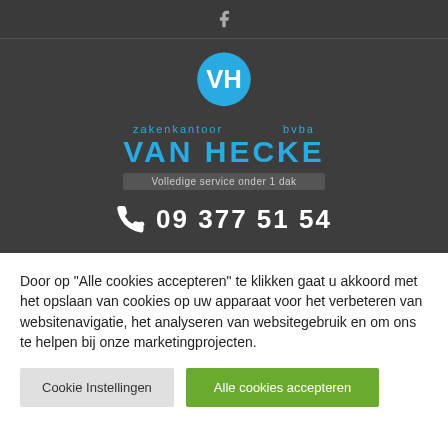[Figure (logo): Facebook icon in top navigation bar]
[Figure (logo): Zakenkantoor Van Hecke bvba logo with blue speech bubble containing stylized VH letters, company name in blue, tagline 'Volledige service onder 1 dak']
09 377 51 54
Door op “Alle cookies accepteren” te klikken gaat u akkoord met het opslaan van cookies op uw apparaat voor het verbeteren van websitenavigatie, het analyseren van websitegebruik en om ons te helpen bij onze marketingprojecten.
Cookie Instellingen
Alle cookies accepteren